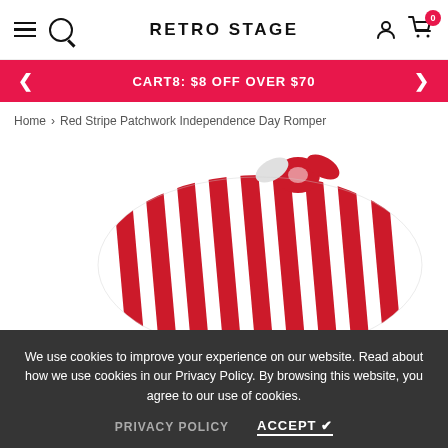RETRO STAGE
CART8: $8 OFF OVER $70
Home > Red Stripe Patchwork Independence Day Romper
[Figure (photo): Red and white striped romper with tied shoulder straps, shown draped/twisted on a white background.]
We use cookies to improve your experience on our website. Read about how we use cookies in our Privacy Policy. By browsing this website, you agree to our use of cookies.
PRIVACY POLICY   ACCEPT ✔